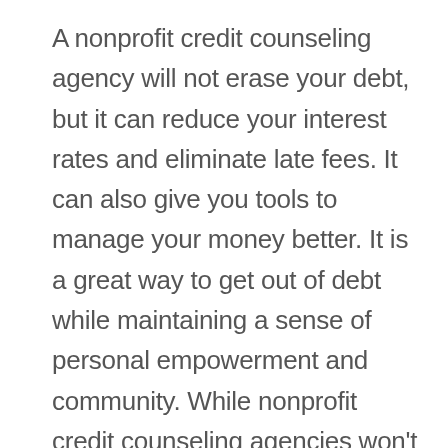A nonprofit credit counseling agency will not erase your debt, but it can reduce your interest rates and eliminate late fees. It can also give you tools to manage your money better. It is a great way to get out of debt while maintaining a sense of personal empowerment and community. While nonprofit credit counseling agencies won't erase your debt, they can help you get on the road to financial freedom. And remember that they're not the only ones struggling with debt.